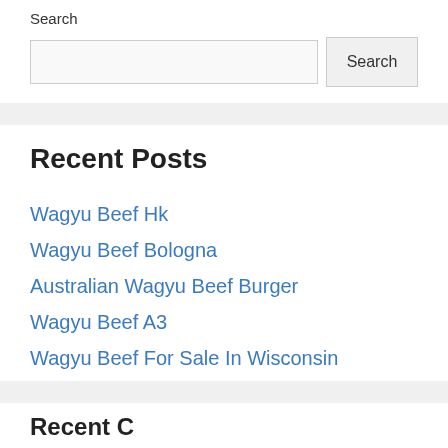Search
Search input and Search button
Recent Posts
Wagyu Beef Hk
Wagyu Beef Bologna
Australian Wagyu Beef Burger
Wagyu Beef A3
Wagyu Beef For Sale In Wisconsin